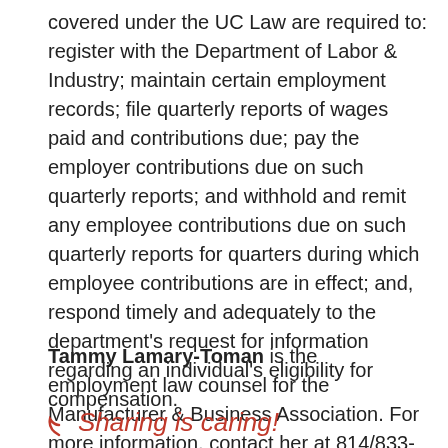covered under the UC Law are required to: register with the Department of Labor & Industry; maintain certain employment records; file quarterly reports of wages paid and contributions due; pay the employer contributions due on such quarterly reports; and withhold and remit any employee contributions due on such quarterly reports for quarters during which employee contributions are in effect; and, respond timely and adequately to the department's request for information regarding an individual's eligibility for compensation.
Tammy Lamary-Toman is the employment law counsel for the Manufacturer & Business Association. For more information, contact her at 814/833-3200, 800/815-2660 or tlamary@mbausa.org.
Sharing is caring!